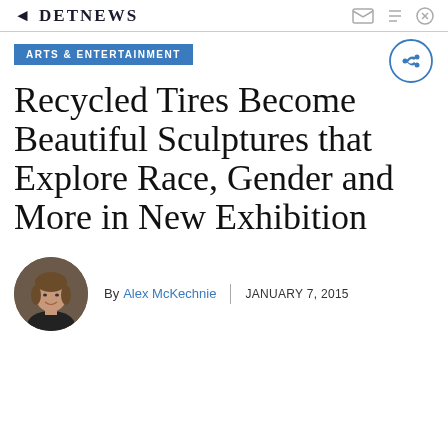DETNEWS
ARTS & ENTERTAINMENT
Recycled Tires Become Beautiful Sculptures that Explore Race, Gender and More in New Exhibition
[Figure (photo): Circular headshot photo of author Alex McKechnie, a woman with brown hair, smiling]
By Alex McKechnie   JANUARY 7, 2015